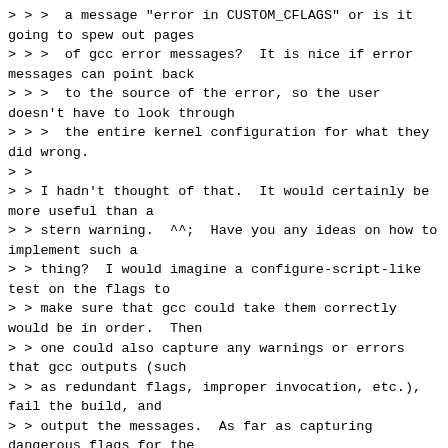> > >  a message "error in CUSTOM_CFLAGS" or is it going to spew out pages
> > >  of gcc error messages?  It is nice if error messages can point back
> > >  to the source of the error, so the user doesn't have to look through
> > >  the entire kernel configuration for what they did wrong.
> >
> > I hadn't thought of that.  It would certainly be more useful than a
> > stern warning.  ^^;  Have you any ideas on how to implement such a
> > thing?  I would imagine a configure-script-like test on the flags to
> > make sure that gcc could take them correctly would be in order.  Then
> > one could also capture any warnings or errors that gcc outputs (such
> > as redundant flags, improper invocation, etc.), fail the build, and
> > output the messages.  As far as capturing dangerous flags for the
> > kernel (such as -ffast-math or -fmerge-all-constants), there could be
> > a blacklist... but that would depend on the gcc version used... :/
>
>  I think that's a very interesting idea. Yes, you can test the flags by